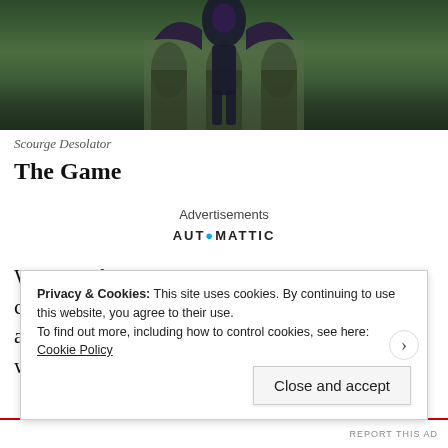[Figure (photo): A dark armored creature or character (Scourge Desolator) with a gothic building facade and green foliage in the background.]
Scourge Desolator
The Game
Advertisements
[Figure (logo): Automattic logo with stylized 'O' in teal/blue color]
We went first and chose to deploy the dropship carrying the medium infantry, these rushed on a good distance and deployed the APCs which were able to go a little further and
Privacy & Cookies: This site uses cookies. By continuing to use this website, you agree to their use.
To find out more, including how to control cookies, see here: Cookie Policy